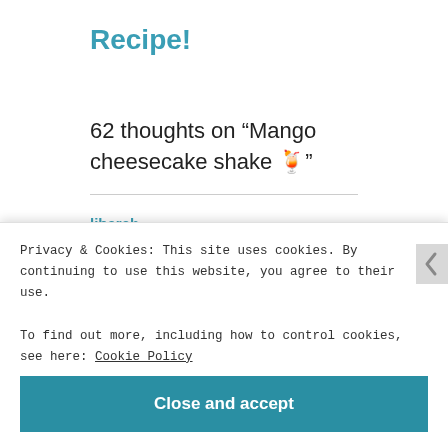Recipe!
62 thoughts on “Mango cheesecake shake 🍹”
libarah
Privacy & Cookies: This site uses cookies. By continuing to use this website, you agree to their use.
To find out more, including how to control cookies, see here: Cookie Policy
Close and accept